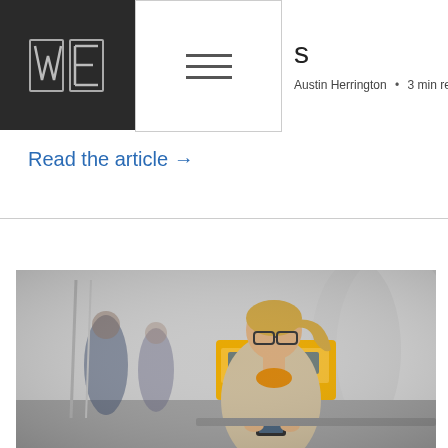WE [logo] — Navigation menu icon
s
Austin Herrington • 3 min read
Read the article →
[Figure (photo): Woman with glasses and blonde ponytail in a beige blazer looking at her smartphone at a subway/metro station platform, with a yellow train visible in the background and other commuters out of focus.]